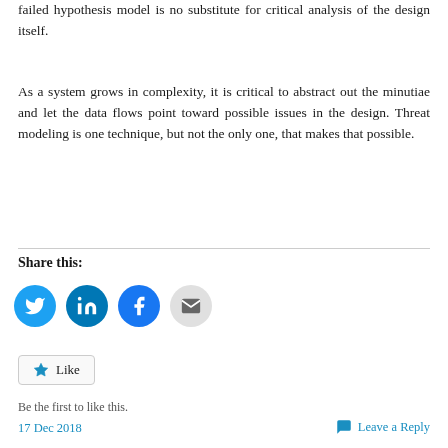failed hypothesis model is no substitute for critical analysis of the design itself.
As a system grows in complexity, it is critical to abstract out the minutiae and let the data flows point toward possible issues in the design. Threat modeling is one technique, but not the only one, that makes that possible.
Share this:
[Figure (infographic): Four social sharing icon buttons: Twitter (blue bird), LinkedIn (blue in), Facebook (blue f), Email (grey envelope)]
[Figure (infographic): Like button with star icon]
Be the first to like this.
17 Dec 2018   Leave a Reply